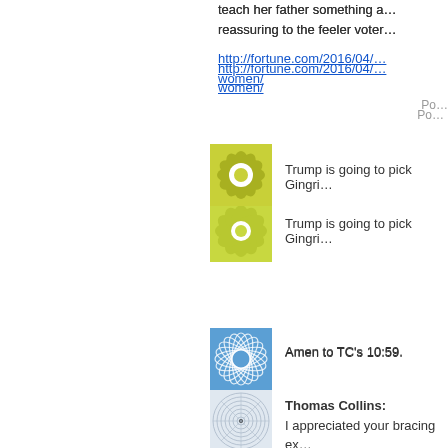teach her father something a... reassuring to the feeler voter...
http://fortune.com/2016/04/... women/
Po...
[Figure (illustration): Blue geometric spiral/flower avatar image]
Amen to TC's 10:59.
[Figure (illustration): Green/yellow flower petal pattern avatar image]
Trump is going to pick Gingri...
[Figure (illustration): Gray circular spiral pattern avatar image with center dot]
Thomas Collins:
I appreciated your bracing ex... like Nikki Haley is the "getting... introduced to the national sta... know much about her. I think... reputation is already made, a... names in mind. Or someone...